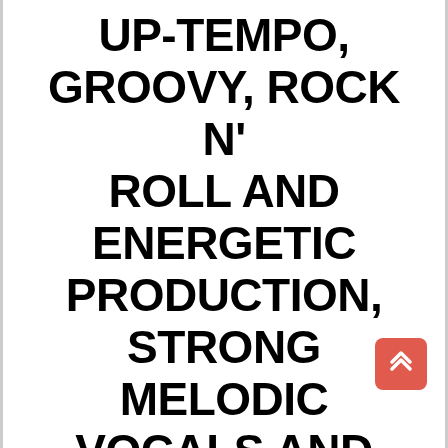UP-TEMPO, GROOVY, ROCK N' ROLL AND ENERGETIC PRODUCTION, STRONG MELODIC VOCALS AND BLUESY GUITAR RIFFS IS ON THE